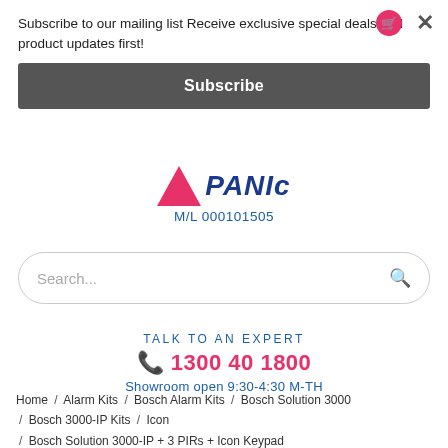Subscribe to our mailing list Receive exclusive special deals and product updates first!
Subscribe
[Figure (logo): PANIc brand logo with pink triangle and blue stylized text, M/L 000101505]
M/L 000101505
Search...
TALK TO AN EXPERT
1300 40 1800
Showroom open 9:30-4:30 M-TH
Home / Alarm Kits / Bosch Alarm Kits / Bosch Solution 3000 / Bosch 3000-IP Kits / Icon / Bosch Solution 3000-IP + 3 PIRs + Icon Keypad